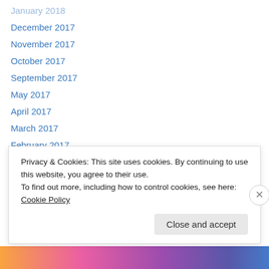January 2018
December 2017
November 2017
October 2017
September 2017
May 2017
April 2017
March 2017
February 2017
January 2017
December 2016
November 2016
October 2016
September 2016
Privacy & Cookies: This site uses cookies. By continuing to use this website, you agree to their use.
To find out more, including how to control cookies, see here: Cookie Policy